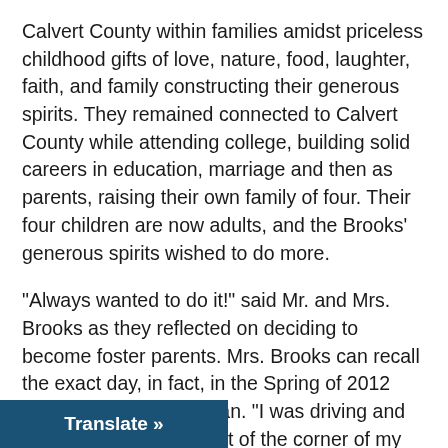Calvert County within families amidst priceless childhood gifts of love, nature, food, laughter, faith, and family constructing their generous spirits. They remained connected to Calvert County while attending college, building solid careers in education, marriage and then as parents, raising their own family of four. Their four children are now adults, and the Brooks' generous spirits wished to do more.
“Always wanted to do it!” said Mr. and Mrs. Brooks as they reflected on deciding to become foster parents. Mrs. Brooks can recall the exact day, in fact, in the Spring of 2012 when their journey began. “I was driving and caught the BCC sign out of the corner of my eye. And, a voice whispered to me, this is the place.”
The Brooks family has fostered four kids with BCC – b…respite and longer term Treatment